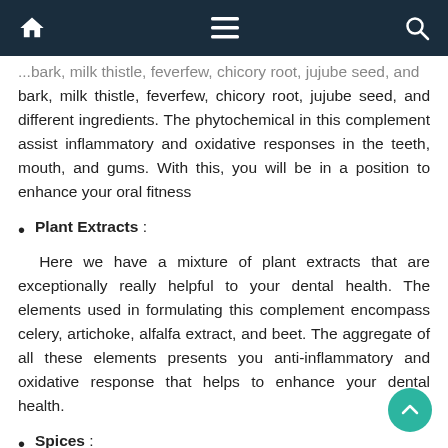Navigation bar with home, menu, and search icons
...bark, milk thistle, feverfew, chicory root, jujube seed, and different ingredients. The phytochemical in this complement assist inflammatory and oxidative responses in the teeth, mouth, and gums. With this, you will be in a position to enhance your oral fitness
Plant Extracts :
Here we have a mixture of plant extracts that are exceptionally really helpful to your dental health. The elements used in formulating this complement encompass celery, artichoke, alfalfa extract, and beet. The aggregate of all these elements presents you anti-inflammatory and oxidative response that helps to enhance your dental health.
Spices :